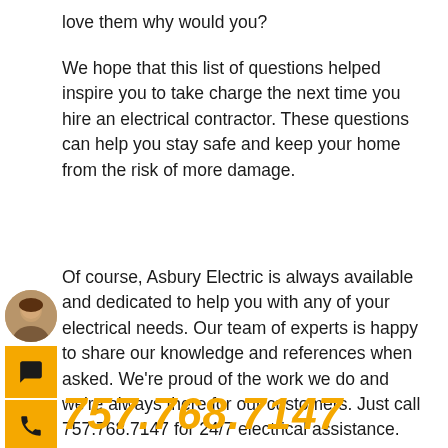love them why would you?
We hope that this list of questions helped inspire you to take charge the next time you hire an electrical contractor. These questions can help you stay safe and keep your home from the risk of more damage.
Of course, Asbury Electric is always available and dedicated to help you with any of your electrical needs. Our team of experts is happy to share our knowledge and references when asked. We're proud of the work we do and we're always there for our customers. Just call 757.768.7147 for 24/7 electrical assistance.
[Figure (illustration): Floating sidebar widget with a user avatar photo circle, a chat bubble icon button (yellow), and a phone icon button (yellow)]
757.768.7147